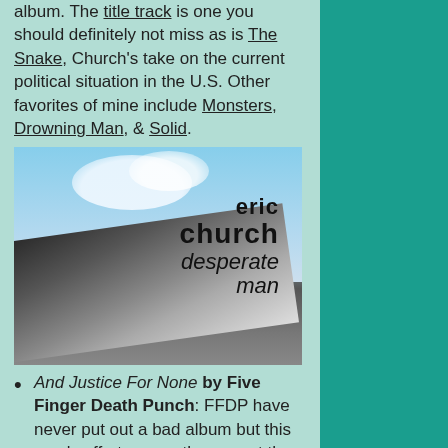album.  The title track is one you should definitely not miss as is The Snake, Church's take on the current political situation in the U.S.  Other favorites of mine include Monsters, Drowning Man, & Solid.
[Figure (photo): Album cover for Eric Church 'Desperate Man' showing cloudy sky above a large curved stadium roof/structure, with the artist name and album title text overlaid on the right side.]
And Justice For None by Five Finger Death Punch: FFDP have never put out a bad album but this year's effort proves they are at the very top of their game & is my choice for best album of 2018.  With Ivan Moody (as well as all the other band